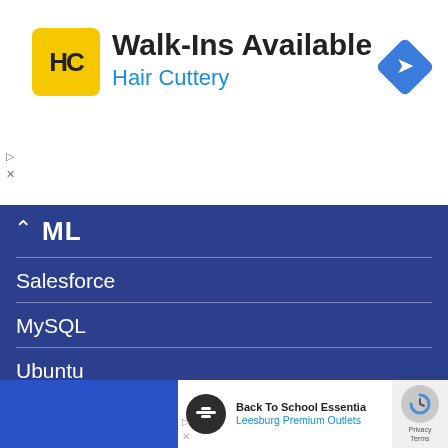[Figure (screenshot): Hair Cuttery advertisement banner with yellow HC logo, title 'Walk-Ins Available', subtitle 'Hair Cuttery', and blue navigation diamond icon on the right]
ML
Salesforce
MySQL
Ubuntu
Contact Us |  Terms & Condition |  Privacy Policy |  Disclaimer
[Figure (screenshot): Leesburg Premium Outlets advertisement banner with 'Back To School Essentials' title and logo]